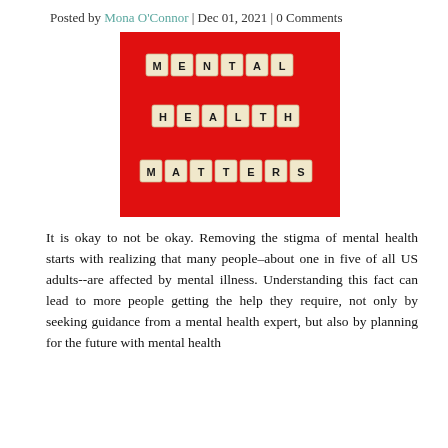Posted by Mona O'Connor | Dec 01, 2021 | 0 Comments
[Figure (photo): Photo of Scrabble tiles spelling MENTAL HEALTH MATTERS on a red background, three rows of tiles.]
It is okay to not be okay. Removing the stigma of mental health starts with realizing that many people–about one in five of all US adults--are affected by mental illness. Understanding this fact can lead to more people getting the help they require, not only by seeking guidance from a mental health expert, but also by planning for the future with mental health